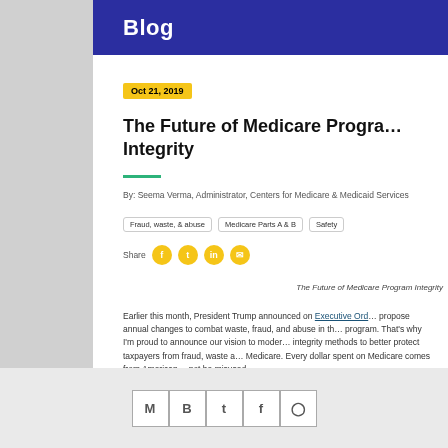Blog
Oct 21, 2019
The Future of Medicare Program Integrity
By: Seema Verma, Administrator, Centers for Medicare & Medicaid Services
Fraud, waste, & abuse
Medicare Parts A & B
Safety
Share
The Future of Medicare Program Integrity
Earlier this month, President Trump announced on Executive Ord... propose annual changes to combat waste, fraud, and abuse in th... program. That's why I'm proud to announce our vision to moder... integrity methods to better protect taxpayers from fraud, waste a... Medicare. Every dollar spent on Medicare comes from American... not be misused.
Social share icons: email, blogger, twitter, facebook, pinterest